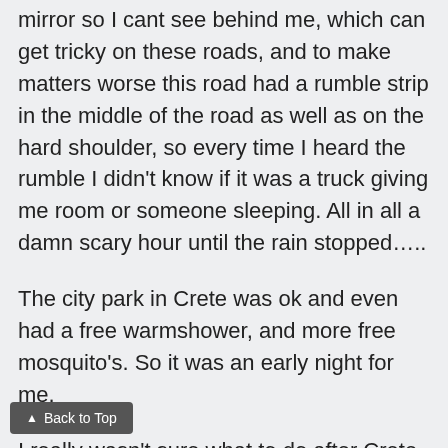mirror so I cant see behind me, which can get tricky on these roads, and to make matters worse this road had a rumble strip in the middle of the road as well as on the hard shoulder, so every time I heard the rumble I didn't know if it was a truck giving me room or someone sleeping. All in all a damn scary hour until the rain stopped…..
The city park in Crete was ok and even had a free warmshower, and more free mosquito's. So it was an early night for me.
I really wasn't sure what to do after Crete weather to head east onto the smaller Highway 2 or stay on the larger highway But after this mornings experience I
▲  Back to Top